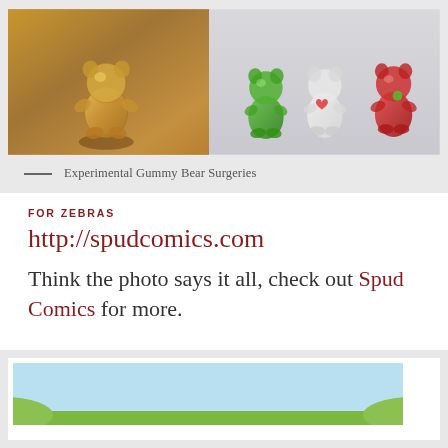[Figure (photo): Two photos of gummy bears side by side. Left: a single golden/yellow gummy bear on a wooden surface with shadow. Right: three gummy bears (green, white/clear, red) lined up on a light surface.]
— Experimental Gummy Bear Surgeries
FOR ZEBRAS
http://spudcomics.com
Think the photo says it all, check out Spud Comics for more.
[Figure (illustration): Bottom of a comic strip panel showing a light blue sky background with green grass/hills at the bottom edge.]